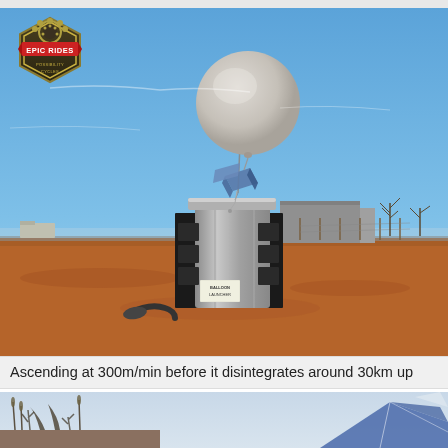[Figure (photo): A weather balloon ascending above an arid landscape with red dirt ground. A metal cylindrical balloon launcher is visible in the foreground with a sign reading 'BALLOON LAUNCHER'. The balloon with a blue instrument package hangs below it is rising into a blue sky. Background shows sparse vegetation and a large metal structure.]
[Figure (logo): Hexagonal badge logo with gear/cog border, red banner reading 'EPIC RIDES', and small text below reading 'POSSIBILITY CYCLES']
Ascending at 300m/min before it disintegrates around 30km up
[Figure (photo): Bottom partial photo showing what appears to be a kite or sail-like structure and some plant silhouettes against a light sky background.]